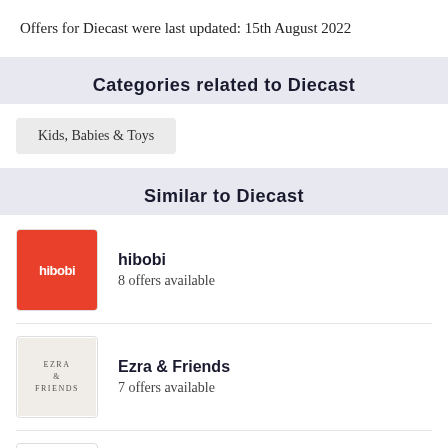Offers for Diecast were last updated: 15th August 2022
Categories related to Diecast
Kids, Babies & Toys
Similar to Diecast
hibobi
8 offers available
Ezra & Friends
7 offers available
MoMA Design Store